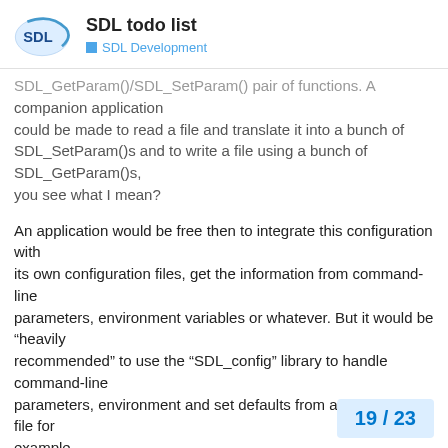SDL todo list — SDL Development
SDL_GetParam()/SDL_SetParam() pair of functions. A companion application could be made to read a file and translate it into a bunch of SDL_SetParam()s and to write a file using a bunch of SDL_GetParam()s, you see what I mean?
An application would be free then to integrate this configuration with its own configuration files, get the information from command-line parameters, environment variables or whatever. But it would be “heavily recommended” to use the “SDL_config” library to handle command-line parameters, environment and set defaults from an /etc/sdl.conf file for example.
I know that what I would like to see at leas
19 / 23